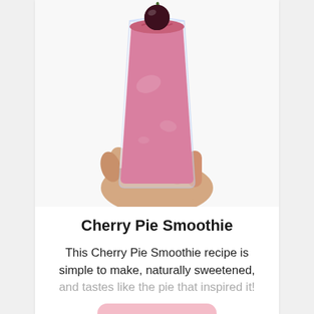[Figure (photo): A hand holding a tall glass filled with pink cherry smoothie, topped with a fresh dark cherry with stem, photographed on white background]
Cherry Pie Smoothie
This Cherry Pie Smoothie recipe is simple to make, naturally sweetened, and tastes like the pie that inspired it!